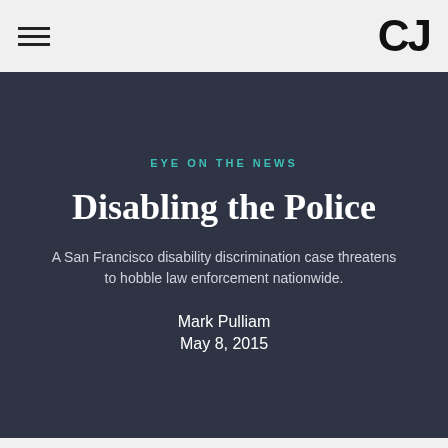CJ
EYE ON THE NEWS
Disabling the Police
A San Francisco disability discrimination case threatens to hobble law enforcement nationwide.
Mark Pulliam
May 8, 2015